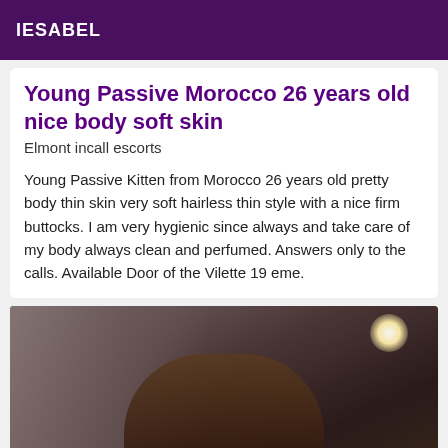IESABEL
Young Passive Morocco 26 years old nice body soft skin
Elmont incall escorts
Young Passive Kitten from Morocco 26 years old pretty body thin skin very soft hairless thin style with a nice firm buttocks. I am very hygienic since always and take care of my body always clean and perfumed. Answers only to the calls. Available Door of the Vilette 19 eme.
[Figure (photo): Dark indoor photo showing a person photographed from behind/above, with a bright light source visible in the upper right area of the image.]